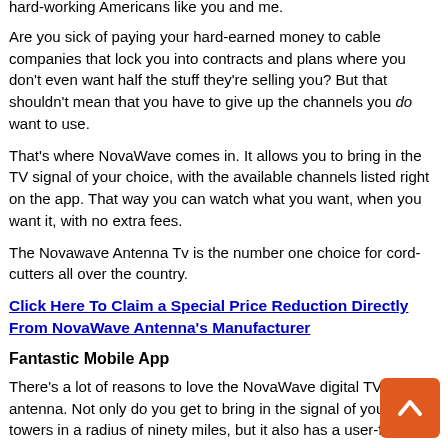hard-working Americans like you and me.
Are you sick of paying your hard-earned money to cable companies that lock you into contracts and plans where you don't even want half the stuff they're selling you? But that shouldn't mean that you have to give up the channels you do want to use.
That's where NovaWave comes in. It allows you to bring in the TV signal of your choice, with the available channels listed right on the app. That way you can watch what you want, when you want it, with no extra fees.
The Novawave Antenna Tv is the number one choice for cord-cutters all over the country.
Click Here To Claim a Special Price Reduction Directly From NovaWave Antenna's Manufacturer
Fantastic Mobile App
There's a lot of reasons to love the NovaWave digital TV antenna. Not only do you get to bring in the signal of your choice towers in a radius of ninety miles, but it also has a user-friendly app.